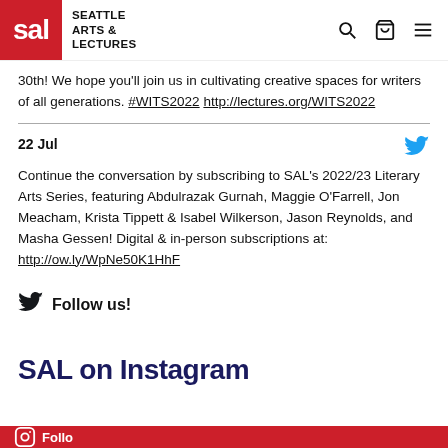SAL – Seattle Arts & Lectures
30th! We hope you'll join us in cultivating creative spaces for writers of all generations. #WITS2022 http://lectures.org/WITS2022
22 Jul
Continue the conversation by subscribing to SAL's 2022/23 Literary Arts Series, featuring Abdulrazak Gurnah, Maggie O'Farrell, Jon Meacham, Krista Tippett & Isabel Wilkerson, Jason Reynolds, and Masha Gessen! Digital & in-person subscriptions at: http://ow.ly/WpNe50K1HhF
Follow us!
SAL on Instagram
Follow us!